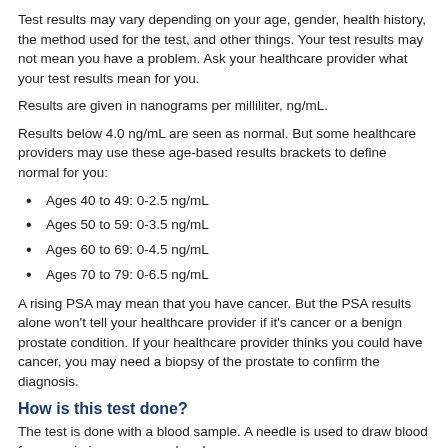Test results may vary depending on your age, gender, health history, the method used for the test, and other things. Your test results may not mean you have a problem. Ask your healthcare provider what your test results mean for you.
Results are given in nanograms per milliliter, ng/mL.
Results below 4.0 ng/mL are seen as normal. But some healthcare providers may use these age-based results brackets to define normal for you:
Ages 40 to 49: 0-2.5 ng/mL
Ages 50 to 59: 0-3.5 ng/mL
Ages 60 to 69: 0-4.5 ng/mL
Ages 70 to 79: 0-6.5 ng/mL
A rising PSA may mean that you have cancer. But the PSA results alone won't tell your healthcare provider if it's cancer or a benign prostate condition. If your healthcare provider thinks you could have cancer, you may need a biopsy of the prostate to confirm the diagnosis.
How is this test done?
The test is done with a blood sample. A needle is used to draw blood from a vein in your arm or hand.
Does this test pose any risks?